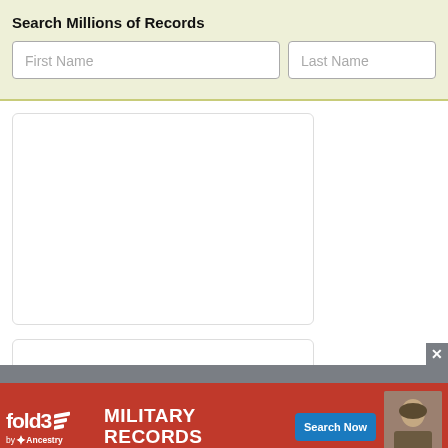Search Millions of Records
First Name
Last Name
[Figure (screenshot): Web page screenshot showing a search bar with 'First Name' and 'Last Name' input fields on a light olive/yellow-green background, two white content panels below, a gray bar, and a fold3 military records advertisement banner at the bottom with a red background, fold3 logo, 'MILITARY RECORDS' text, 'Search Now' button, and a photo of a soldier.]